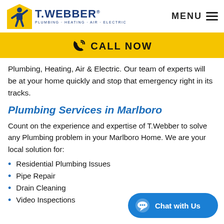T.WEBBER PLUMBING · HEATING · AIR · ELECTRIC — MENU
CALL NOW
Plumbing, Heating, Air & Electric. Our team of experts will be at your home quickly and stop that emergency right in its tracks.
Plumbing Services in Marlboro
Count on the experience and expertise of T.Webber to solve any Plumbing problem in your Marlboro Home. We are your local solution for:
Residential Plumbing Issues
Pipe Repair
Drain Cleaning
Video Inspections